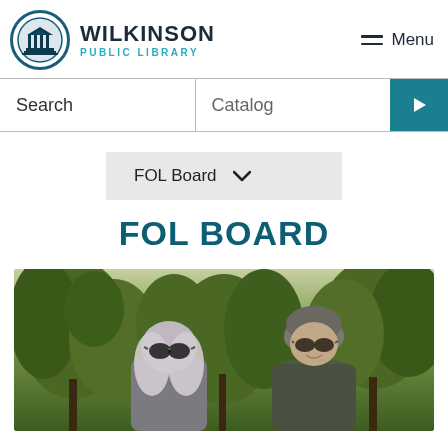WILKINSON PUBLIC LIBRARY
Search  Catalog
FOL Board ∨
FOL BOARD
[Figure (photo): Two people outdoors smiling, standing in front of evergreen trees. The person on the left has long gray-white hair and round sunglasses. The person on the right wears a gray beanie and sunglasses.]